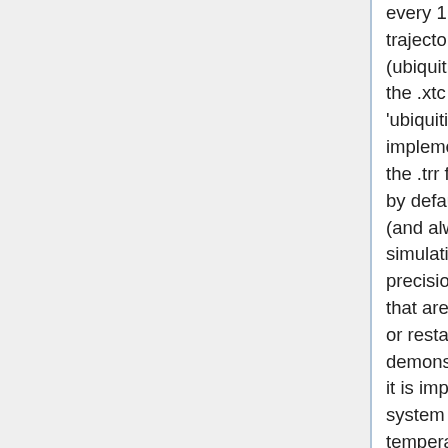every 1 ps) for analysis. To view the trajectory, load the original coordinate file (ubiquitin_min.gro) into VMD, followed by the .xtc file. The final file, 'ubiquitin_nvt.cpt', is a new-ish implementation in GROMACS that renders the .trr file obsolete. The checkpoint file is by default written to disc every 15 minutes (and always at the very end of a simulation), and it contains the latest full-precision velocities, forces, and energies that are required to continue a simulation, or restart a crashed-simulation. This will be demonstrated in the next section, but first, it is important to verify that the ubiquitin system equilibrated around the target temperature. Use 'g_energy' again, and this time choose '14' for Temperature.